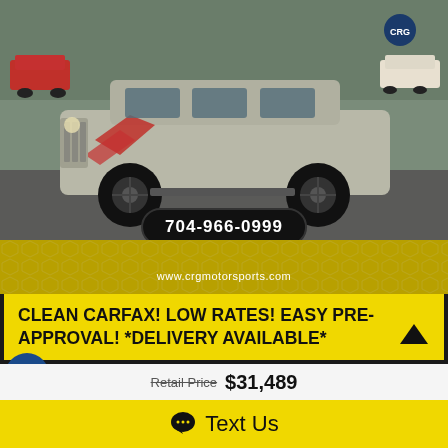[Figure (photo): Silver Jeep Wrangler Unlimited with red graphic accents and black wheels, parked in a dealership lot, side profile view]
704-966-0999
www.crgmotorsports.com
CLEAN CARFAX! LOW RATES! EASY PRE-APPROVAL! *DELIVERY AVAILABLE*
2017 Jeep Wrangler Unlimited Winter 4x4 *Ltd Avail*
Retail Price  $31,489
Text Us